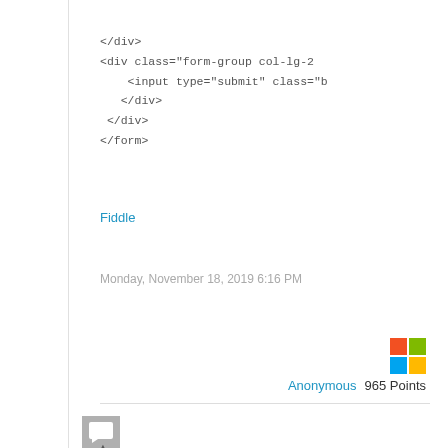</div>
<div class="form-group col-lg-2
    <input type="submit" class="b
    </div>
</div>
</form>
Fiddle
Monday, November 18, 2019 6:16 PM
Anonymous  965 Points
[Figure (logo): Microsoft logo - four colored squares in 2x2 grid: red, green, blue, yellow]
[Figure (illustration): Gray square avatar/chat icon with speech bubble symbol]
▲